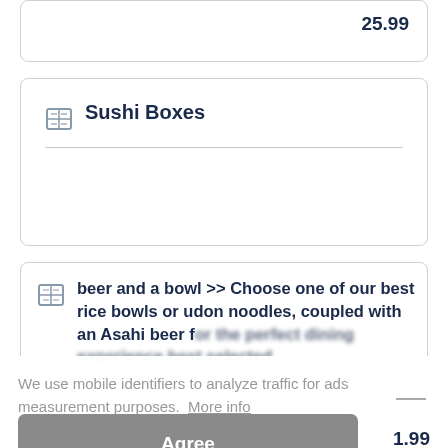25.99
Sushi Boxes
beer and a bowl >> Choose one of our best rice bowls or udon noodles, coupled with an Asahi beer for the perfect dining experience best selected
We use mobile identifiers to analyze traffic for ads measurement purposes. More info
Agree
1.99
ase
see individual products